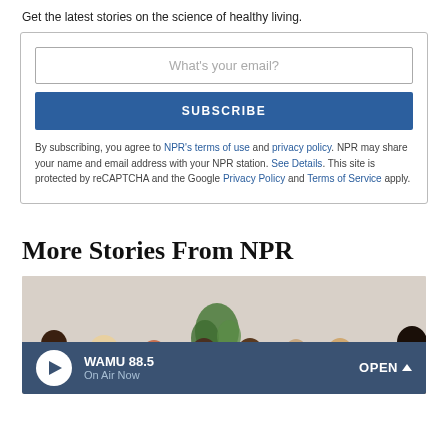Get the latest stories on the science of healthy living.
What's your email?
SUBSCRIBE
By subscribing, you agree to NPR's terms of use and privacy policy. NPR may share your name and email address with your NPR station. See Details. This site is protected by reCAPTCHA and the Google Privacy Policy and Terms of Service apply.
More Stories From NPR
[Figure (photo): Group of women sitting in a circle having a discussion, in a light-colored room with a plant in the background.]
WAMU 88.5 On Air Now OPEN ^